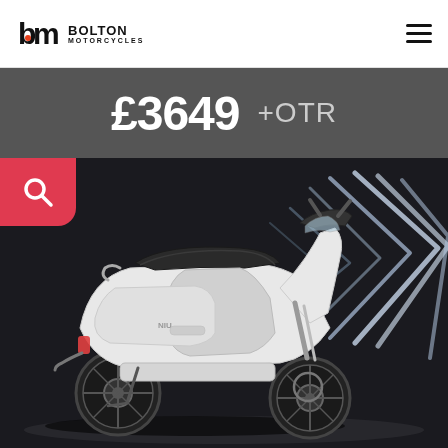Bolton Motorcycles
£3649 +OTR
[Figure (photo): White electric scooter photographed against a dark studio background with glowing chevron light patterns on the right side. The scooter is a modern, smooth-bodied moped-style vehicle with a dark seat and chrome details.]